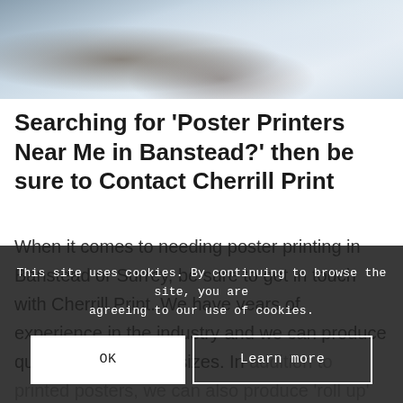[Figure (photo): A blurred photo showing hands near a white object, suggesting a printing/office environment, cropped at the top of the page.]
Searching for 'Poster Printers Near Me in Banstead?' then be sure to Contact Cherrill Print
When it comes to needing poster printing in Banstead or Surrey, be sure to get in touch with Cherrill Print. We have years of experience in the industry and we can produce quality posters of all sizes. In addition to printed posters, we can also produce 'roll up' exhibition banners and vinyl banners for outdoor use. Our reliable and reputable team are here to help with all your brochure printing needs. No matter how
This site uses cookies. By continuing to browse the site, you are agreeing to our use of cookies.